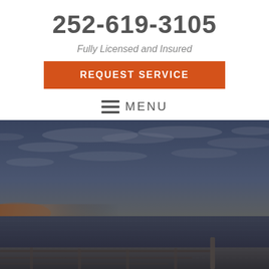252-619-3105
Fully Licensed and Insured
REQUEST SERVICE
MENU
[Figure (photo): Coastal beach scene at dusk/sunset with a cloudy blue-grey sky, calm ocean water, a wooden fence post visible in the lower right, and a warm glow on the horizon to the left. The image has a dark, moody overlay.]